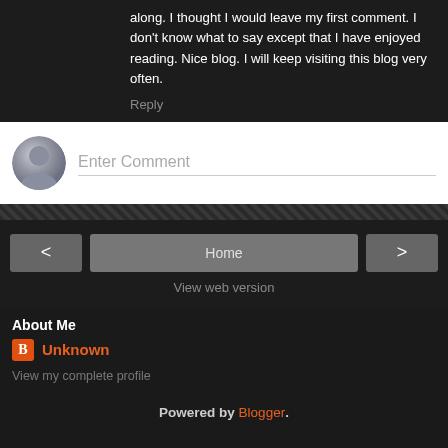along. I thought I would leave my first comment. I don't know what to say except that I have enjoyed reading. Nice blog. I will keep visiting this blog very often.
Reply
[Figure (screenshot): Comment input box with avatar icon and 'Enter Comment' placeholder text]
[Figure (screenshot): Navigation bar with back chevron, Home button, and forward chevron, plus 'View web version' link]
About Me
Unknown
View my complete profile
Powered by Blogger.